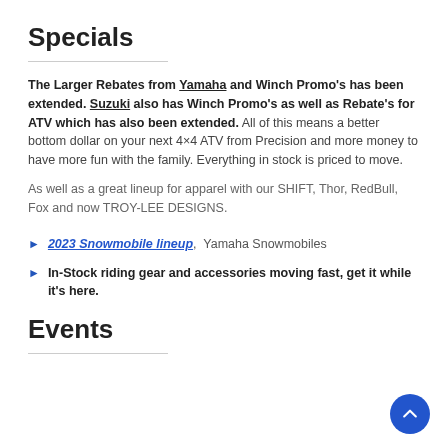Specials
The Larger Rebates from Yamaha and Winch Promo's has been extended. Suzuki also has Winch Promo's as well as Rebate's for ATV which has also been extended. All of this means a better bottom dollar on your next 4x4 ATV from Precision and more money to have more fun with the family. Everything in stock is priced to move.
As well as a great lineup for apparel with our SHIFT, Thor, RedBull, Fox and now TROY-LEE DESIGNS.
2023 Snowmobile lineup,  Yamaha Snowmobiles
In-Stock riding gear and accessories moving fast, get it while it's here.
Events